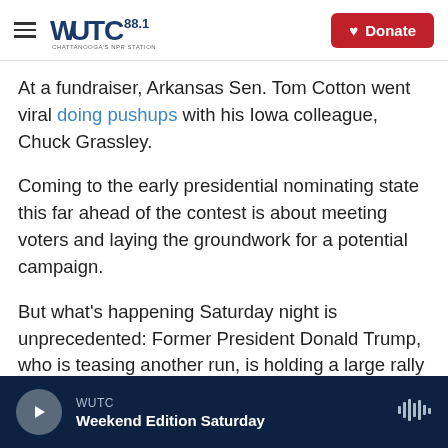WUTC 88.1 Chattanooga's NPR Station | Donate
At a fundraiser, Arkansas Sen. Tom Cotton went viral doing pushups with his Iowa colleague, Chuck Grassley.
Coming to the early presidential nominating state this far ahead of the contest is about meeting voters and laying the groundwork for a potential campaign.
But what's happening Saturday night is unprecedented: Former President Donald Trump, who is teasing another run, is holding a large rally at the Iowa State Fairgrounds in Des Moines.
WUTC | Weekend Edition Saturday